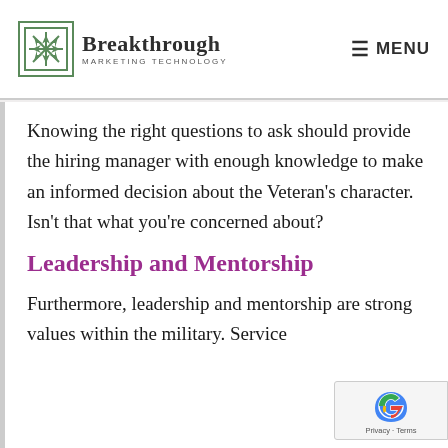Breakthrough Marketing Technology — MENU
Knowing the right questions to ask should provide the hiring manager with enough knowledge to make an informed decision about the Veteran's character. Isn't that what you're concerned about?
Leadership and Mentorship
Furthermore, leadership and mentorship are strong values within the military. Service